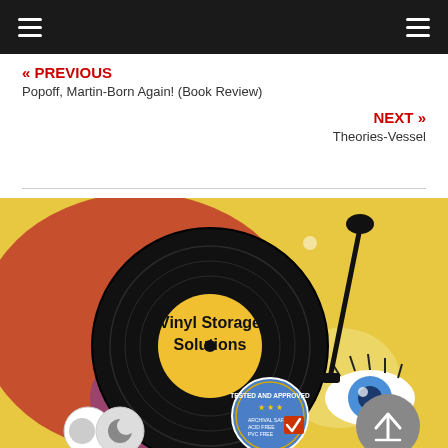≡  ≡
« PREVIOUS
Popoff, Martin-Born Again! (Book Review)
NEXT »
Theories-Vessel
[Figure (illustration): A vinyl record on a turntable with colorful pop-art style background showing a woman's face with blue eyes and colorful makeup. Text on the record reads 'Vinyl Storage Solutions'. A blue circular badge reads 'Tested and Approved' with stars and checklist items. A turntable tonearm is visible on the right side.]